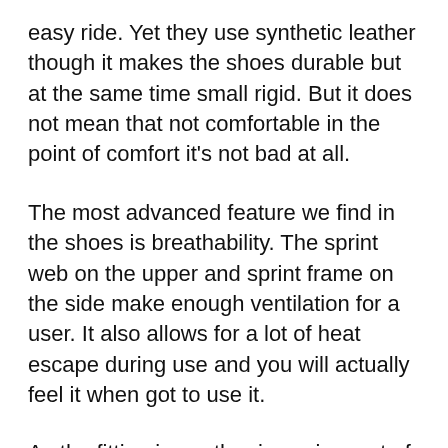easy ride. Yet they use synthetic leather though it makes the shoes durable but at the same time small rigid. But it does not mean that not comfortable in the point of comfort it's not bad at all.
The most advanced feature we find in the shoes is breathability. The sprint web on the upper and sprint frame on the side make enough ventilation for a user. It also allows for a lot of heat escape during use and you will actually feel it when got to use it.
As the fitting is another issue in most of the shoe case but this one is free from that. The shoe is locking your foot into it like a glove and gives you a